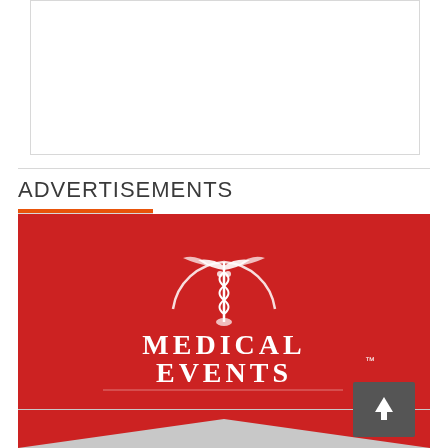[Figure (other): Empty white box with light gray border at the top of the page]
ADVERTISEMENTS
[Figure (logo): Medical Events advertisement banner: red background with white Medical Events logo featuring caduceus symbol, with gray chevron pattern at the bottom. A dark gray button with a white upward arrow appears at the bottom right.]